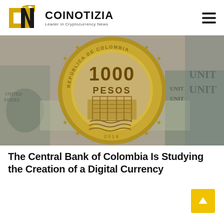COINOTIZIA – Leader in Cryptocurrency News
[Figure (photo): Close-up photograph of a Colombian 1000 Pesos coin resting on US dollar bills. The gold and silver bimetal coin shows 'REPUBLICA DE COLOMBIA' around the edge, '1000 PESOS' in the center, and a building engraving below.]
The Central Bank of Colombia Is Studying the Creation of a Digital Currency